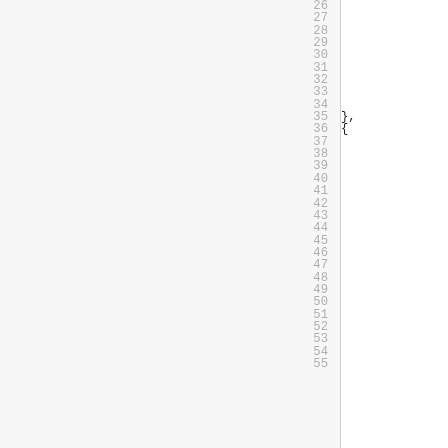Line numbers 26 through 55 with code symbols }. and { on lines 35 and 36